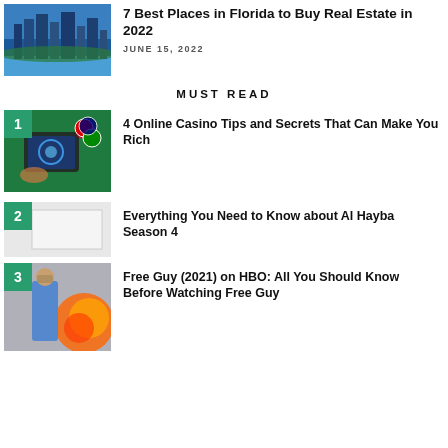[Figure (photo): Aerial view of Miami city skyline with water]
7 Best Places in Florida to Buy Real Estate in 2022
JUNE 15, 2022
MUST READ
[Figure (photo): Online casino concept: hand tapping a tablet with poker chips on green background, numbered badge 1]
4 Online Casino Tips and Secrets That Can Make You Rich
[Figure (photo): Blank/white image placeholder with numbered badge 2]
Everything You Need to Know about Al Hayba Season 4
[Figure (photo): Man in blue shirt in action movie scene with explosions, numbered badge 3]
Free Guy (2021) on HBO: All You Should Know Before Watching Free Guy